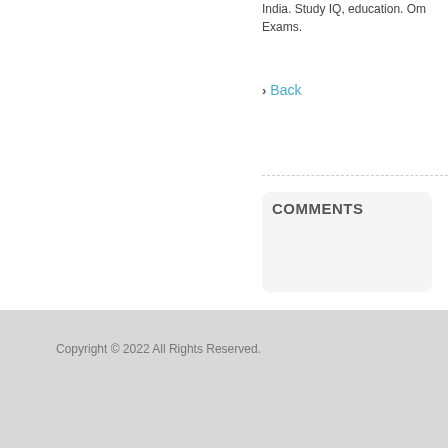India. Study IQ, education. Om Exams.
› Back
COMMENTS
Copyright © 2022 All Rights Reserved.